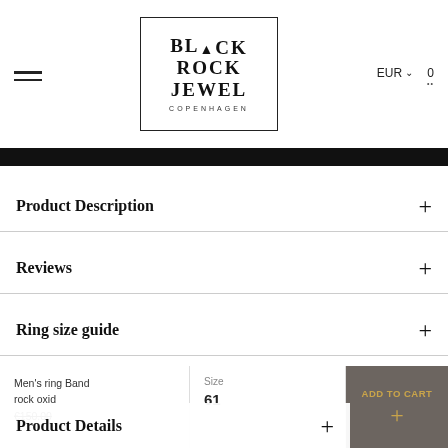Black Rock Jewel Copenhagen — EUR — Cart 0
[Figure (logo): Black Rock Jewel Copenhagen logo in a bordered box]
Product Description
Reviews
Ring size guide
Product Details
Men's ring Band rock oxid
€150.00
Size
61
ADD TO CART